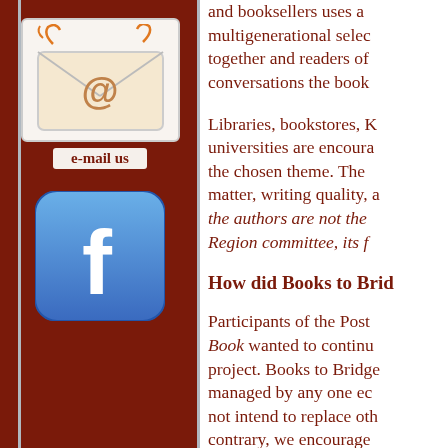[Figure (illustration): Email icon showing an envelope with @ symbol and decorative swirls]
e-mail us
[Figure (logo): Facebook logo button - blue rounded square with white 'f']
and booksellers uses a multigenerational selec together and readers of conversations the book
Libraries, bookstores, K universities are encour the chosen theme. The matter, writing quality, a the authors are not the Region committee, its f
How did Books to Brid
Participants of the Post Book wanted to continu project. Books to Bridge managed by any one ec not intend to replace oth contrary, we encourage